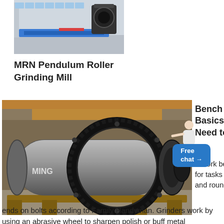[Figure (photo): Industrial hall with large machinery, overhead crane, blue platform visible]
MRN Pendulum Roller Grinding Mill
[Figure (photo): Large ball mill / grinding mill cylinder with gear ring, in factory setting with MING branding visible]
[Figure (illustration): Customer service representative figure pointing, with Free chat badge overlay]
Bench Grinder Basics You Need to Know
A work bench grinder is useful for tasks like tool sharpening and rounding off sharp thread ends on bolts according to Family Handyman. Grinders work by using an abrasive wheel to sharpen polish or buff metal